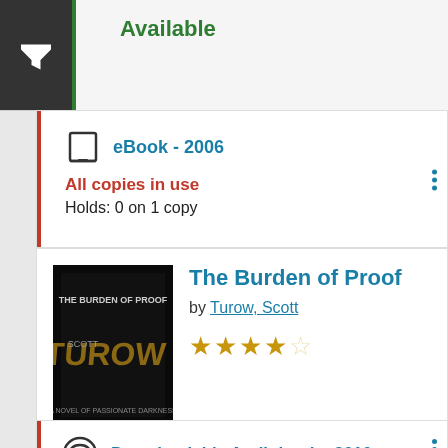Available
eBook - 2006
All copies in use
Holds: 0 on 1 copy
The Burden of Proof
by Turow, Scott
[Figure (other): Book cover for The Burden of Proof by Scott Turow, dark cover with stylized title text]
Downloadable Audiobook - 2010
All copies in use
Holds: 2 on 1 copy
Book - 1990
Fic TUROW